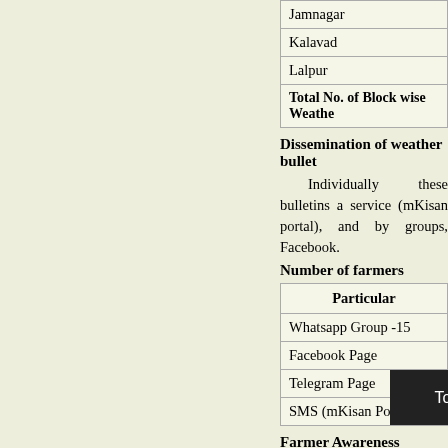| Jamnagar |
| Kalavad |
| Lalpur |
| Total No. of Block wise Weathers... |
Dissemination of weather bullets...
Individually these bulletins are... service (mKisan portal), and by... groups, Facebook.
Number of farmers
| Particular |
| --- |
| Whatsapp Group -15 |
| Facebook Page |
| Telegram Page |
| SMS (mKisan Portal) |
Farmer Awareness Programmes...
Climate based farming is dr... farmer awareness... por... advisories. Farmers can mitiga...